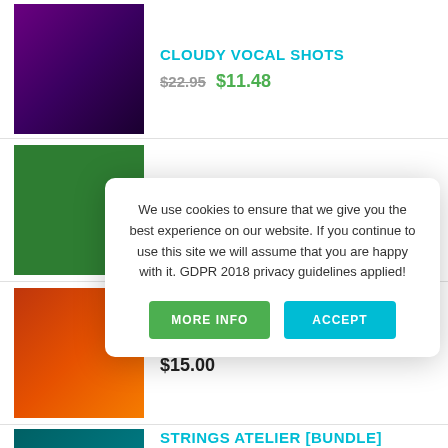[Figure (photo): Purple/violet product thumbnail for Cloudy Vocal Shots]
CLOUDY VOCAL SHOTS
$22.95  $11.48
[Figure (photo): Green Bebecita 2 in 1 Bundle product thumbnail]
BEBECITA 2 IN 1 BUNDLE
$30.00  $15.00
[Figure (photo): Orange/dark On Repeat Amapiano product thumbnail]
ON REPEAT - AMAPIANO
$15.00
[Figure (photo): Teal Strings Atelier bundle product thumbnail]
STRINGS ATELIER [BUNDLE]
[Figure (photo): Dark pop product thumbnail (partially visible)]
[Figure (photo): Green product thumbnail (partially visible)]
$15.50
We use cookies to ensure that we give you the best experience on our website. If you continue to use this site we will assume that you are happy with it. GDPR 2018 privacy guidelines applied!
MORE INFO
ACCEPT